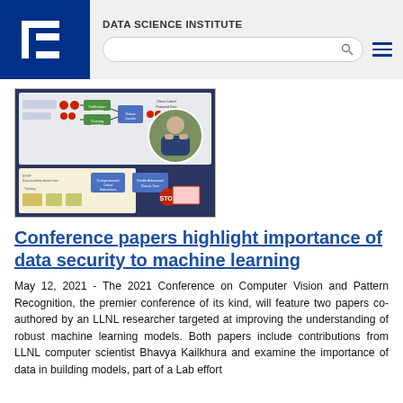DATA SCIENCE INSTITUTE
[Figure (screenshot): Screenshot of a machine learning / data security flowchart diagram with a circular inset photo of a researcher (man in suit outdoors).]
Conference papers highlight importance of data security to machine learning
May 12, 2021 - The 2021 Conference on Computer Vision and Pattern Recognition, the premier conference of its kind, will feature two papers co-authored by an LLNL researcher targeted at improving the understanding of robust machine learning models. Both papers include contributions from LLNL computer scientist Bhavya Kailkhura and examine the importance of data in building models, part of a Lab effort